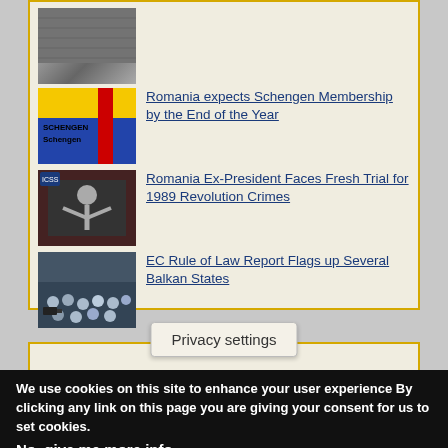[Figure (photo): Thumbnail image - architectural or crowd scene, grey tones]
Romania expects Schengen Membership by the End of the Year
[Figure (photo): Thumbnail showing Schengen sign with yellow and blue Romanian flag colors]
Romania Ex-President Faces Fresh Trial for 1989 Revolution Crimes
[Figure (photo): Thumbnail showing a man at a press conference with hands raised]
EC Rule of Law Report Flags up Several Balkan States
[Figure (photo): Thumbnail showing crowd/parliament audience scene]
Privacy settings
We use cookies on this site to enhance your user experience By clicking any link on this page you are giving your consent for us to set cookies.
No, give me more info
OK, I agree
No, thanks